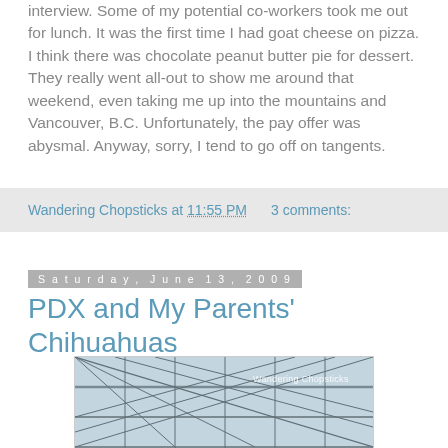interview. Some of my potential co-workers took me out for lunch. It was the first time I had goat cheese on pizza. I think there was chocolate peanut butter pie for dessert. They really went all-out to show me around that weekend, even taking me up into the mountains and Vancouver, B.C. Unfortunately, the pay offer was abysmal. Anyway, sorry, I tend to go off on tangents.
Wandering Chopsticks at 11:55 PM   3 comments:
Saturday, June 13, 2009
PDX and My Parents' Chihuahuas
[Figure (photo): Interior photo of an airport terminal with a large glass and steel roof structure, metal trusses visible overhead. Watermark reads 'Wandering Chopsticks'.]